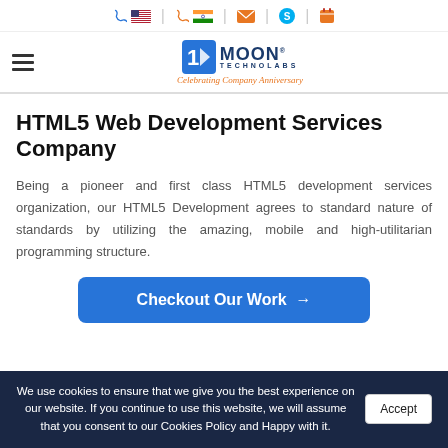Moon Technolabs - Celebrating Company Anniversary
HTML5 Web Development Services Company
Being a pioneer and first class HTML5 development services organization, our HTML5 Development agrees to standard nature of standards by utilizing the amazing, mobile and high-utilitarian programming structure.
[Figure (other): Blue button with text 'Checkout Our Work' and right arrow]
We use cookies to ensure that we give you the best experience on our website. If you continue to use this website, we will assume that you consent to our Cookies Policy and Happy with it.